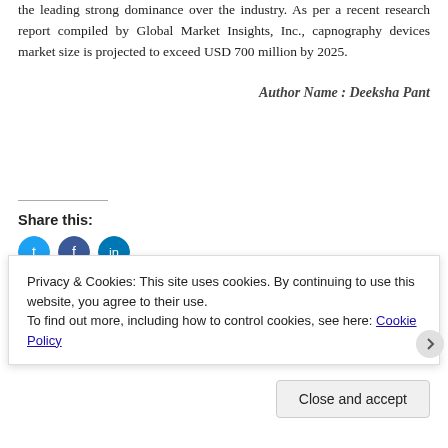the leading strong dominance over the industry. As per a recent research report compiled by Global Market Insights, Inc., capnography devices market size is projected to exceed USD 700 million by 2025.
Author Name : Deeksha Pant
Share this:
Privacy & Cookies: This site uses cookies. By continuing to use this website, you agree to their use.
To find out more, including how to control cookies, see here: Cookie Policy
Close and accept